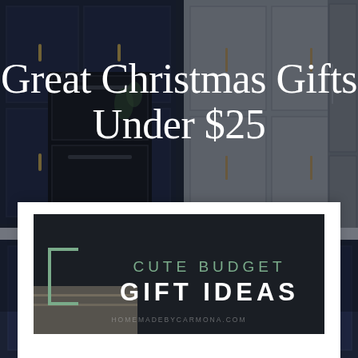[Figure (photo): Dark navy blue kitchen with wall ovens, gold/brass cabinet hardware, and light gray upper cabinets. Background photo with semi-transparent dark overlay.]
Great Christmas Gifts Under $25
ACCESSORIES, SEASONAL / DECEMBER 10, 2018 by URSULA CARMONA / LEAVE A COMMENT
[Figure (infographic): Dark banner image with green accent bracket and text reading 'CUTE BUDGET GIFT IDEAS' with watermark 'HOMEMADEBYCARMONA.COM']